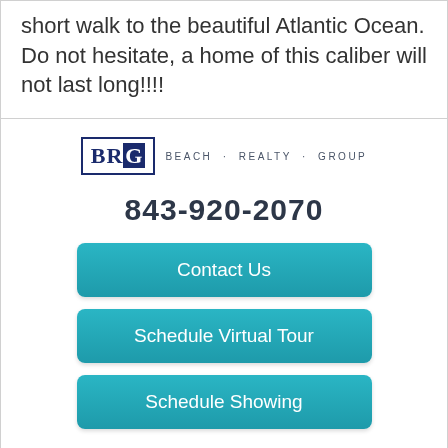short walk to the beautiful Atlantic Ocean. Do not hesitate, a home of this caliber will not last long!!!!
[Figure (logo): Beach Realty Group (BRG) logo with text BEACH · REALTY · GROUP]
843-920-2070
Contact Us
Schedule Virtual Tour
Schedule Showing
Search All Properties